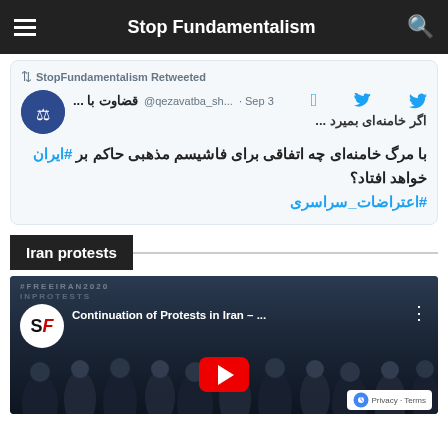Stop Fundamentalism
StopFundamentalism Retweeted
قضاوت با ... @qezavatba_sh... · Sep 3
اگر خامنه‌ای بمیرد ...
با مرگ خامنه‌ای چه اتفاقی برای فاشیسم مذهبی حاکم بر #ایران خواهد افتاد؟ #اعتراضات_سراسری
Iran protests
[Figure (screenshot): YouTube video thumbnail showing 'Continuation of Protests in Iran – ...' with crowd of protesters in background and red YouTube play button]